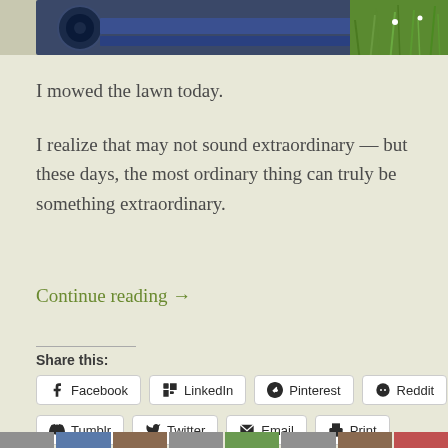[Figure (photo): Top portion of a photograph showing a lawn mower (blue/metal body visible) with green grass and plants in the background, cropped at the top of the page.]
I mowed the lawn today.
I realize that may not sound extraordinary — but these days, the most ordinary thing can truly be something extraordinary.
Continue reading →
Share this:
Facebook  LinkedIn  Pinterest  Reddit  Tumblr  Twitter  Email  Print